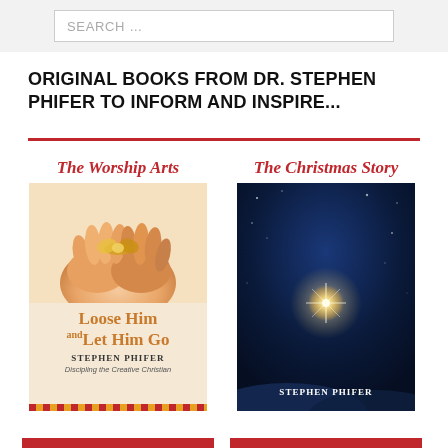[Figure (screenshot): Search bar with placeholder text 'SEARCH ...' on a light gray background]
ORIGINAL BOOKS FROM DR. STEPHEN PHIFER TO INFORM AND INSPIRE...
[Figure (illustration): Two book covers side by side. Left: 'The Worship Arts' series book titled 'Loose Him and Let Him Go' by Stephen Phifer — Discipling the Creative Christian. Right: 'The Christmas Story' series book titled 'The Promise of the Star' — A Novel of Healing Presence by Stephen Phifer.]